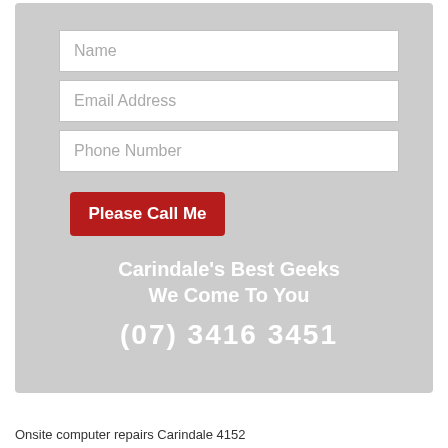[Figure (screenshot): Web form with fields for Name, Email Address, Phone Number, and a red 'Please Call Me' button on a gray background]
Carindale's Best Geeks
We Come To You
(07) 3416 3451
Onsite computer repairs Carindale 4152